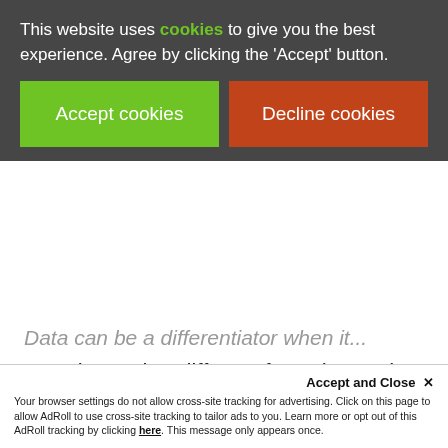This website uses cookies to give you the best experience. Agree by clicking the 'Accept' button.
[Figure (screenshot): Cookie consent banner with green 'Accept cookies' button and orange-red 'Decline cookies' button on dark grey background]
ABM is not that different from demand gen. But with demand gen, you have fewer accounts and you can't do as much. A lot of people think ABM isn't for them, but they miss how widely applicable it is.
Accept and Close ✕ Your browser settings do not allow cross-site tracking for advertising. Click on this page to allow AdRoll to use cross-site tracking to tailor ads to you. Learn more or opt out of this AdRoll tracking by clicking here. This message only appears once.